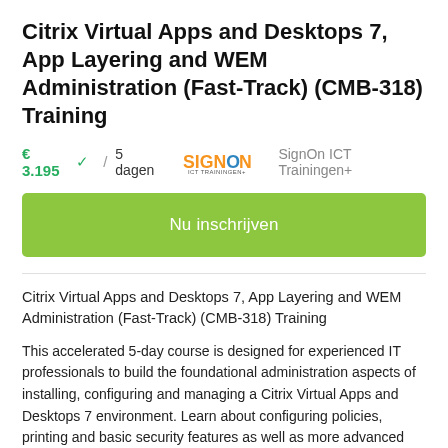Citrix Virtual Apps and Desktops 7, App Layering and WEM Administration (Fast-Track) (CMB-318) Training
€ 3.195  ✓  /  5 dagen   SignOn ICT Trainingen+
Nu inschrijven
Citrix Virtual Apps and Desktops 7, App Layering and WEM Administration (Fast-Track) (CMB-318) Training
This accelerated 5-day course is designed for experienced IT professionals to build the foundational administration aspects of installing, configuring and managing a Citrix Virtual Apps and Desktops 7 environment. Learn about configuring policies, printing and basic security features as well as more advanced topics including Windows Environment Management (WEM) and App Layering. Gain an understanding of the solution architecture and communications, and the factors that contribute to a successful